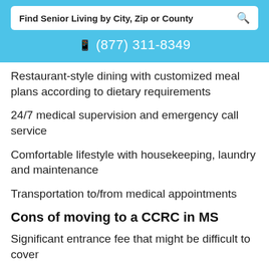[Figure (screenshot): Search bar with text 'Find Senior Living by City, Zip or County' and a search icon on the right]
📞 (877) 311-8349
Restaurant-style dining with customized meal plans according to dietary requirements
24/7 medical supervision and emergency call service
Comfortable lifestyle with housekeeping, laundry and maintenance
Transportation to/from medical appointments
Cons of moving to a CCRC in MS
Significant entrance fee that might be difficult to cover
Monthly fees are also higher, especially if there